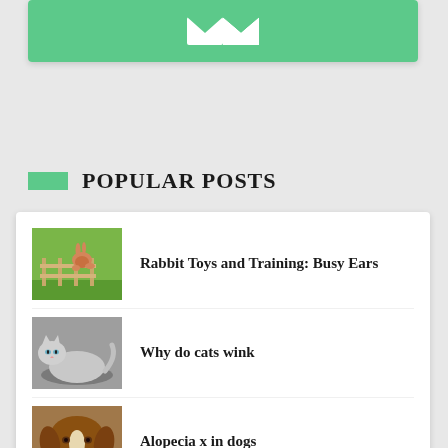[Figure (screenshot): Green email subscribe button with white envelope icon on a white card]
POPULAR POSTS
[Figure (photo): Thumbnail of a rabbit jumping over a fence in a green field]
Rabbit Toys and Training: Busy Ears
[Figure (photo): Thumbnail of a cat lying down, grey background]
Why do cats wink
[Figure (photo): Thumbnail of a Collie dog close-up, brown and beige fur]
Alopecia x in dogs
[Figure (photo): Thumbnail of animals partially visible, dark green background (cut off)]